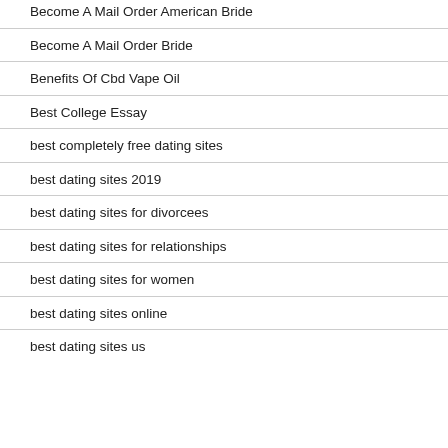Become A Mail Order American Bride
Become A Mail Order Bride
Benefits Of Cbd Vape Oil
Best College Essay
best completely free dating sites
best dating sites 2019
best dating sites for divorcees
best dating sites for relationships
best dating sites for women
best dating sites online
best dating sites us